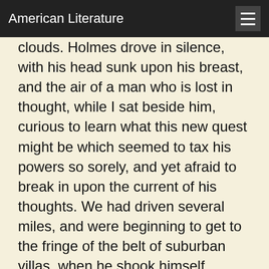American Literature
clouds. Holmes drove in silence, with his head sunk upon his breast, and the air of a man who is lost in thought, while I sat beside him, curious to learn what this new quest might be which seemed to tax his powers so sorely, and yet afraid to break in upon the current of his thoughts. We had driven several miles, and were beginning to get to the fringe of the belt of suburban villas, when he shook himself, shrugged his shoulders, and lit up his pipe with the air of a man who has satisfied himself that he is acting for the best.
“You have a grand gift of silence, Watson,” said he. “It makes you quite invaluable as a companion. ’Pon